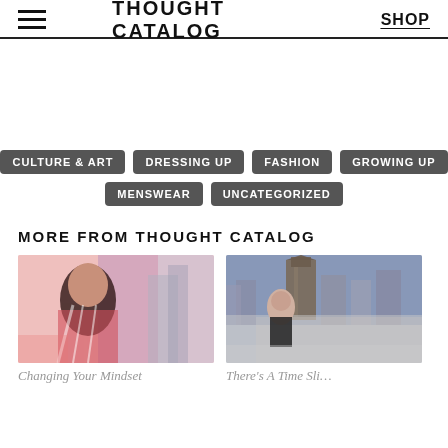THOUGHT CATALOG | SHOP
[Figure (other): White advertisement/banner area]
CULTURE & ART
DRESSING UP
FASHION
GROWING UP
MENSWEAR
UNCATEGORIZED
MORE FROM THOUGHT CATALOG
[Figure (photo): Fashion photo of a woman in colorful attire with abstract background]
[Figure (photo): Woman with glasses standing in front of a city street with a church]
Changing Your Mindset
There's A Time Sli…